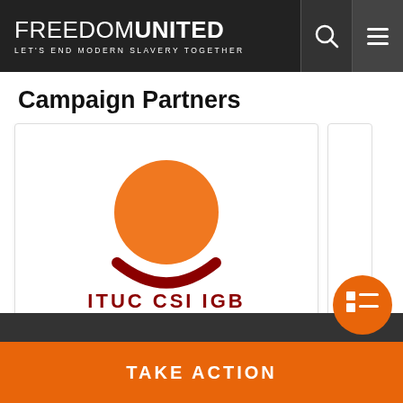FREEDOM UNITED — LET'S END MODERN SLAVERY TOGETHER
Campaign Partners
[Figure (logo): ITUC CSI IGB logo: orange circle above a dark red arc/smile shape, with text 'ITUC CSI IGB' in dark red below]
TAKE ACTION